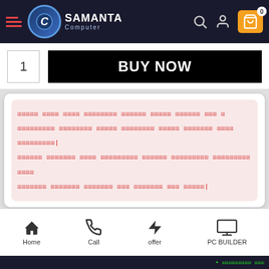Samanta Computer - Navigation Bar
1
BUY NOW
[Corrupted/unrenderable Bengali or similar script text - displayed as replacement character boxes]
[Figure (illustration): Customer support agent illustration with headphones, partially visible]
Home  Call  offer  PC BUILDER